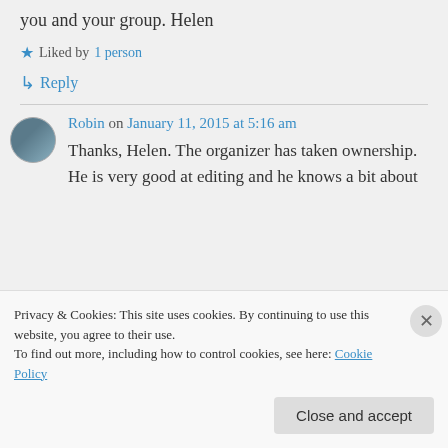you and your group. Helen
★ Liked by 1 person
↳ Reply
Robin on January 11, 2015 at 5:16 am
Thanks, Helen. The organizer has taken ownership. He is very good at editing and he knows a bit about
Privacy & Cookies: This site uses cookies. By continuing to use this website, you agree to their use. To find out more, including how to control cookies, see here: Cookie Policy
Close and accept